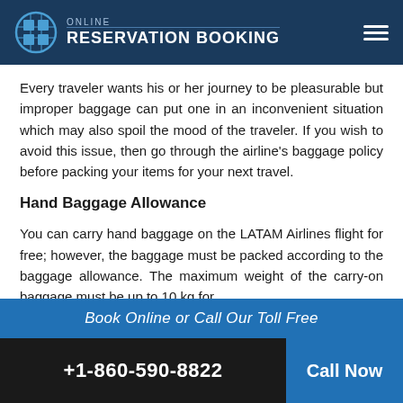Online Reservation Booking
Every traveler wants his or her journey to be pleasurable but improper baggage can put one in an inconvenient situation which may also spoil the mood of the traveler. If you wish to avoid this issue, then go through the airline's baggage policy before packing your items for your next travel.
Hand Baggage Allowance
You can carry hand baggage on the LATAM Airlines flight for free; however, the baggage must be packed according to the baggage allowance. The maximum weight of the carry-on baggage must be up to 10 kg for
Book Online or Call Our Toll Free
+1-860-590-8822   Call Now